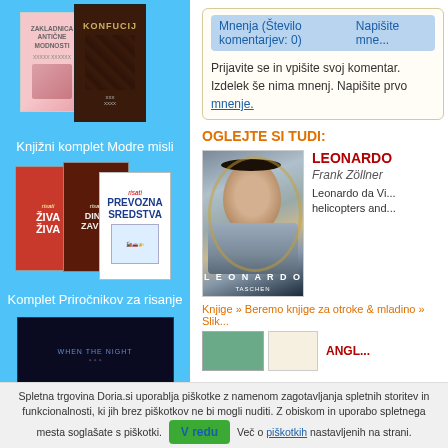[Figure (photo): Book cover: Zakladnica antične modnosti (pink cover)]
[Figure (photo): Book cover: Konfucij (dark brown cover with bamboo motif)]
Knjižni komplet Modre misli
[Figure (photo): Three book covers: risati ŽIVA, risati DINOZAVRE, risati PREVOZNA SREDSTVA]
Komplet Priročnikov za risanje
[Figure (photo): Bottom partial book cover (dark, When the Night...)]
Mnenja (Število komentarjev: 0)   Napišite mne...
Prijavite se in vpišite svoj komentar.
Izdelek še nima mnenj. Napišite prvo mnenje.
OGLEJTE SI TUDI:
[Figure (photo): Leonardo book cover featuring Lady with an Ermine painting, TASCHEN publisher]
LEONARDO
Frank Zöllner
Leonardo da Vi... helicopters and...
Knjige » Beremo knjige za otroke & mladino » Slik...
Spletna trgovina Doria.si uporablja piškotke z namenom zagotavljanja spletnih storitev in funkcionalnosti, ki jih brez piškotkov ne bi mogli nuditi. Z obiskom in uporabo spletnega mesta soglašate s piškotki. V redu Več o piškotkih nastavljenih na strani.